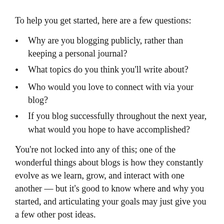To help you get started, here are a few questions:
Why are you blogging publicly, rather than keeping a personal journal?
What topics do you think you’ll write about?
Who would you love to connect with via your blog?
If you blog successfully throughout the next year, what would you hope to have accomplished?
You’re not locked into any of this; one of the wonderful things about blogs is how they constantly evolve as we learn, grow, and interact with one another — but it’s good to know where and why you started, and articulating your goals may just give you a few other post ideas.
Can’t think how to get started? Just write the first thing